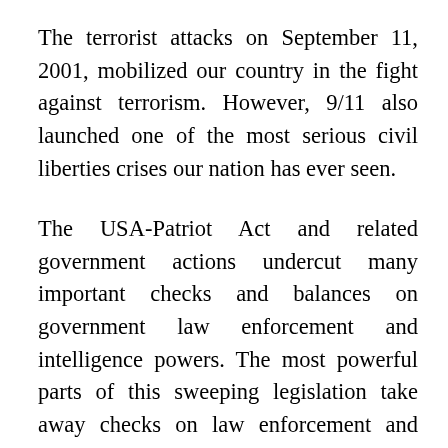The terrorist attacks on September 11, 2001, mobilized our country in the fight against terrorism. However, 9/11 also launched one of the most serious civil liberties crises our nation has ever seen.
The USA-Patriot Act and related government actions undercut many important checks and balances on government law enforcement and intelligence powers. The most powerful parts of this sweeping legislation take away checks on law enforcement and threaten the very rights and freedoms that we are struggling to protect. For example, without a warrant and without probable cause, the FBI now has the power to access your most private medical records, your